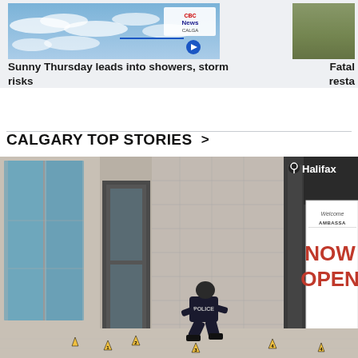[Figure (screenshot): Weather news card thumbnail showing cloudy sky with CBC News logo and video play button]
Sunny Thursday leads into showers, storm risks
[Figure (photo): Partial thumbnail image of outdoor scene (greenery/trees)]
Fatal resta
CALGARY TOP STORIES >
[Figure (photo): Crime scene photo showing a police officer crouched near evidence markers on the ground outside a building with glass doors and a sign reading Halifax Welcome Ambassador NOW OPEN]